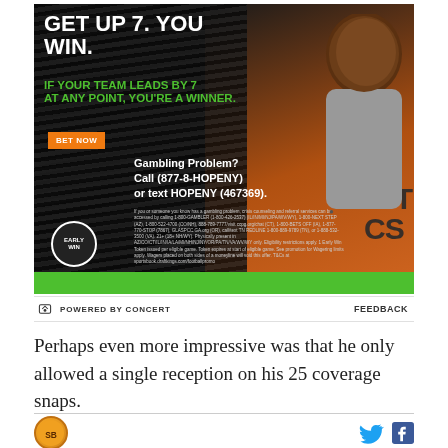[Figure (photo): Sports betting advertisement featuring a celebrity (Kevin Hart) pointing, DraftKings Early Win promotion. Headline reads 'GET UP 7. YOU WIN.' with subtext 'IF YOUR TEAM LEADS BY 7 AT ANY POINT, YOU'RE A WINNER.' BET NOW button, gambling problem helpline info.]
POWERED BY CONCERT    FEEDBACK
Perhaps even more impressive was that he only allowed a single reception on his 25 coverage snaps.